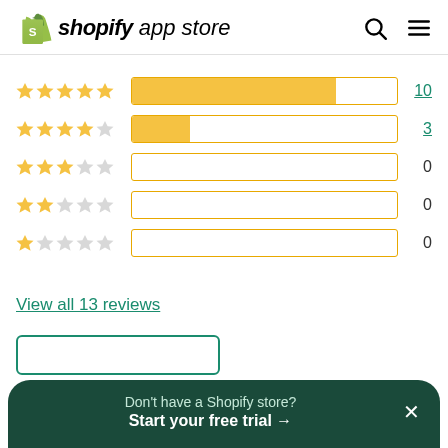[Figure (logo): Shopify App Store logo with green shopping bag icon and bold italic 'shopify app store' text]
[Figure (bar-chart): Star ratings distribution]
View all 13 reviews
Don't have a Shopify store? Start your free trial →